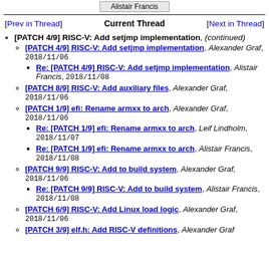Alistair Francis
[PATCH 4/9] RISC-V: Add setjmp implementation, (continued)
[PATCH 4/9] RISC-V: Add setjmp implementation, Alexander Graf, 2018/11/06
Re: [PATCH 4/9] RISC-V: Add setjmp implementation, Alistair Francis, 2018/11/08
[PATCH 8/9] RISC-V: Add auxiliary files, Alexander Graf, 2018/11/06
[PATCH 1/9] efi: Rename armxx to arch, Alexander Graf, 2018/11/06
Re: [PATCH 1/9] efi: Rename armxx to arch, Leif Lindholm, 2018/11/07
Re: [PATCH 1/9] efi: Rename armxx to arch, Alistair Francis, 2018/11/08
[PATCH 9/9] RISC-V: Add to build system, Alexander Graf, 2018/11/06
Re: [PATCH 9/9] RISC-V: Add to build system, Alistair Francis, 2018/11/08
[PATCH 6/9] RISC-V: Add Linux load logic, Alexander Graf, 2018/11/06
[PATCH 3/9] elf.h: Add RISC-V definitions, Alexander Graf